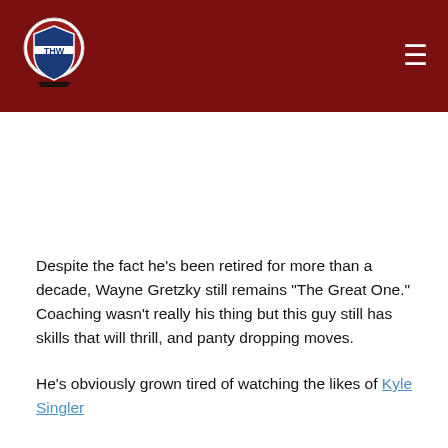THW
Despite the fact he's been retired for more than a decade, Wayne Gretzky still remains “The Great One.” Coaching wasn’t really his thing but this guy still has skills that will thrill, and panty dropping moves.
He's obviously grown tired of watching the likes of Kyle Singler